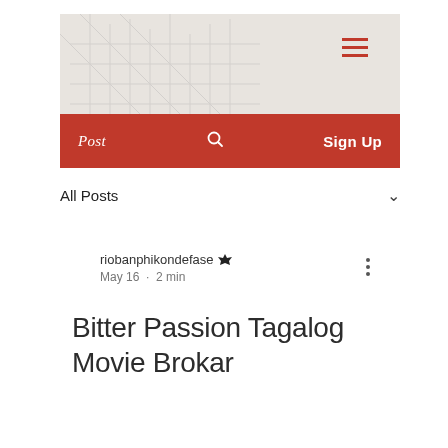[Figure (screenshot): Website header with faded architectural building photo background in beige/grey tones, with a red hamburger menu icon on the right side]
Post   🔍   Sign Up
All Posts ∨
riobanphikondefase 👑
May 16 · 2 min
Bitter Passion Tagalog Movie Brokar